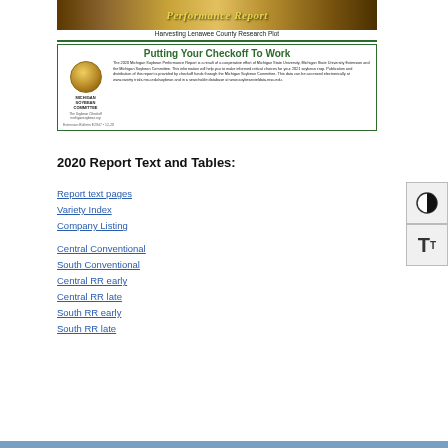[Figure (photo): Banner photo of harvesting Lenawee County Research Plot with golden/brown crop field, overlaid with italic yellow title 'Performance Report']
Harvesting Lenawee County Research Plot
[Figure (infographic): Michigan Soybean Committee brochure box titled 'Putting Your Checkoff To Work' with MSC logo and descriptive text about the 2020 Michigan Soybean Performance Report]
2020 Report Text and Tables:
Report text pages
Variety Index
Company Listing
Central Conventional
South Conventional
Central RR early
Central RR late
South RR early
South RR late